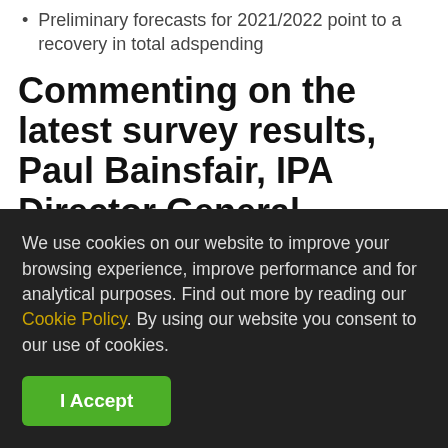Preliminary forecasts for 2021/2022 point to a recovery in total adspending
Commenting on the latest survey results, Paul Bainsfair, IPA Director General,
We use cookies on our website to improve your browsing experience, improve performance and for analytical purposes. Find out more by reading our Cookie Policy. By using our website you consent to our use of cookies.
I Accept